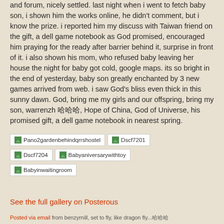and forum, nicely settled. last night when i went to fetch baby son, i shown him the works online, he didn't comment, but i know the prize. i reported him my discuss with Taiwan friend on the gift, a dell game notebook as God promised, encouraged him praying for the ready after barrier behind it, surprise in front of it. i also shown his mom, who refused baby leaving her house the night for baby got cold, google maps. its so bright in the end of yesterday, baby son greatly enchanted by 3 new games arrived from web. i saw God's bliss even thick in this sunny dawn. God, bring me my girls and our offspring, bring my son, warrenzh 哈哈哈, Hope of China, God of Universe, his promised gift, a dell game notebook in nearest spring.
[Figure (screenshot): Five image thumbnails: Pano2gardenbehindqrrshostel, Dscf7201, Dscf7204, Babyaniversarywithtoy, Babyinwaitingroom]
See the full gallery on Posterous
Posted via email from benzyrnill, set to fly, like dragon fly...哈哈哈